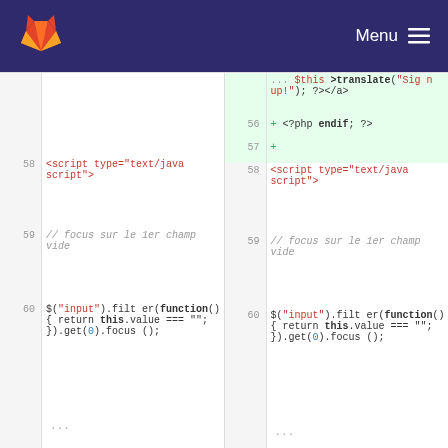GitLab — Menu
[Figure (screenshot): GitLab diff view showing code comparison. Left panel shows lines 58-60 with PHP/JavaScript code. Right panel shows lines 55-60 with added lines (green background) containing PHP translate function and endif, then matching script tag and JavaScript code. Code includes <script type="text/javascript">, // focus sur le 1er champ vide, $("input").filter(function() { return this.value === ""; }).get(0).focus();]